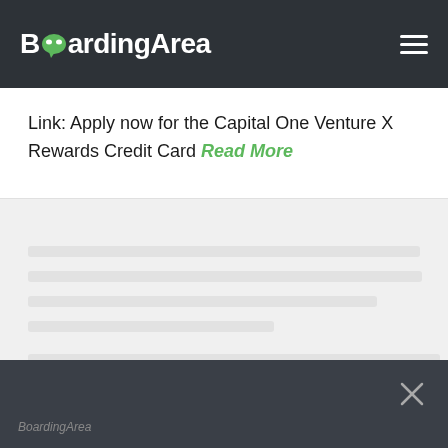BoardingArea
Link: Apply now for the Capital One Venture X Rewards Credit Card Read More